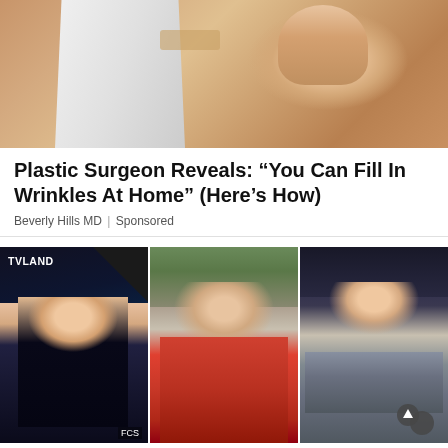[Figure (photo): Close-up photo of a person in a white shirt with skin/face visible, appearing to be a medical or beauty advertisement image]
Plastic Surgeon Reveals: “You Can Fill In Wrinkles At Home” (Here’s How)
Beverly Hills MD | Sponsored
[Figure (photo): Three photos of dark-haired women side by side: left woman in navy dress at TV Land event, center woman in red dress outdoors, right woman in grey outfit at what appears to be Comic-Con]